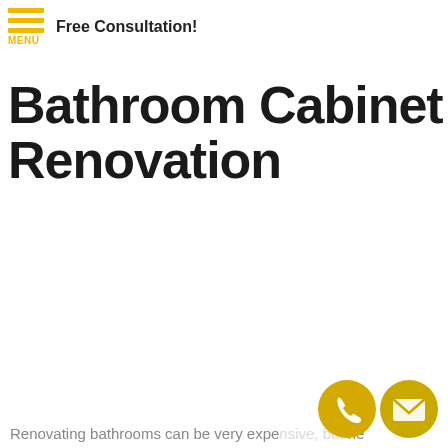Free Consultation!
Bathroom Cabinet Renovation
Renovating bathrooms can be very expe... bu... ne